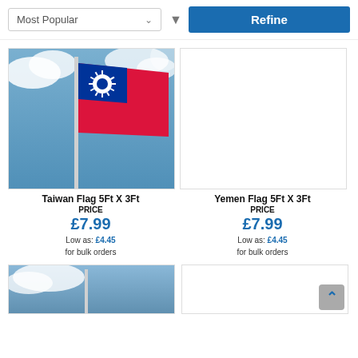Most Popular
Refine
[Figure (photo): Taiwan flag on a pole waving against a blue sky with clouds]
[Figure (photo): Yemen flag product image placeholder (white box)]
Taiwan Flag 5Ft X 3Ft
Yemen Flag 5Ft X 3Ft
PRICE
£7.99
Low as: £4.45 for bulk orders
PRICE
£7.99
Low as: £4.45 for bulk orders
[Figure (photo): Partially visible flag product image at bottom left]
[Figure (photo): Partially visible flag product image placeholder at bottom right with scroll-to-top button]